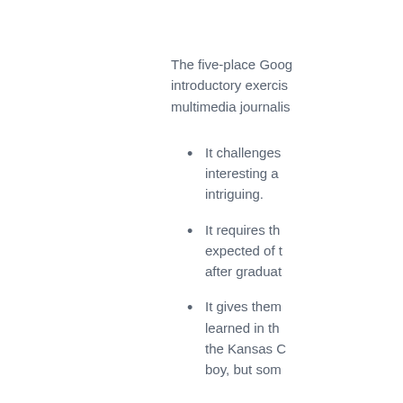The five-place Goog introductory exercis multimedia journalis
It challenges interesting a intriguing.
It requires th expected of t after graduat
It gives them learned in th the Kansas C boy, but som